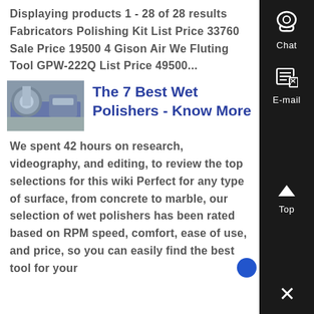Displaying products 1 - 28 of 28 results Fabricators Polishing Kit List Price 33760 Sale Price 19500 4 Gison Air Wet Fluting Tool GPW-222Q List Price 49500...
[Figure (photo): Thumbnail image of an industrial facility with large circular tanks]
The 7 Best Wet Polishers - Know More
We spent 42 hours on research, videography, and editing, to review the top selections for this wiki Perfect for any type of surface, from concrete to marble, our selection of wet polishers has been rated based on RPM speed, comfort, ease of use, and price, so you can easily find the best tool for your